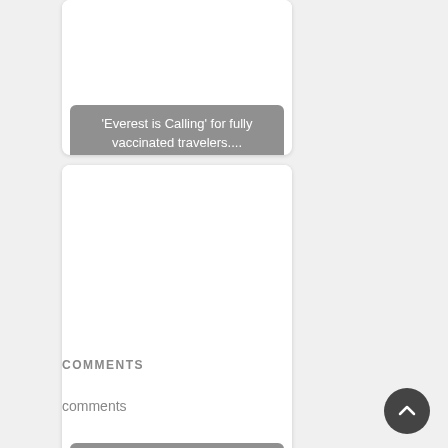[Figure (photo): Card with image area (white/blank) and caption overlay reading 'Everest is Calling' for fully vaccinated travelers....]
'Everest is Calling' for fully vaccinated travelers....
[Figure (photo): Card with image area (white/blank) and caption overlay reading 'After 20 years, Singapore Airlines resumes its....']
After 20 years, Singapore Airlines resumes its....
COMMENTS
comments